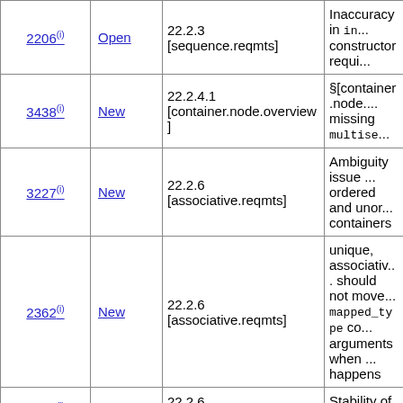| Issue | Status | Section | Description |
| --- | --- | --- | --- |
| 2206(i) | Open | 22.2.3 [sequence.reqmts] | Inaccuracy in in... constructor requi... |
| 3438(i) | New | 22.2.4.1 [container.node.overview] | §[container.node.... missing multise... |
| 3227(i) | New | 22.2.6 [associative.reqmts] | Ambiguity issue ... ordered and unor... containers |
| 2362(i) | New | 22.2.6 [associative.reqmts] | unique, associativ... should not move... mapped_type co... arguments when ... happens |
| 2844(i) | Open | 22.2.6 [associative.reqmts] | Stability of a_un... |
| 2227(i) | Open | 22.2.6 [associative.reqmts] | Stateful comparis... associative conta... |
| 2215(i) | Open | 22.2.6 [associative.reqmts] | (unordered) asso... functors should b... CopyConstructi... |
| 3577(i) | New | 22.2.6.1 [associative.reqmts.general] | Merging an (uno... associative conta... |
| 3578(i) | New | 22.2.6.1 | Iterator SCARYn... |